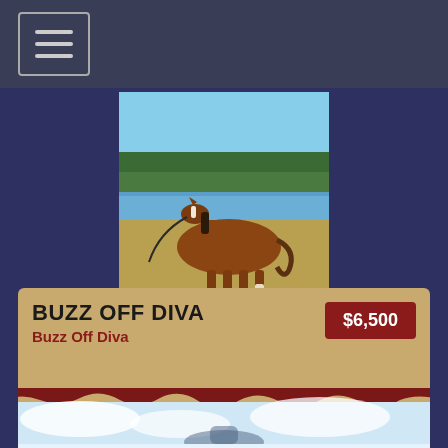Navigation menu (hamburger button)
[Figure (photo): A chestnut horse standing in a field with a lake and trees in the background, being held by a lead rope.]
By 2019 BFA Junior Futurity Champion. 30 days with cutting horse trainer. $9,800 OK
BUZZ OFF DIVA
Buzz Off Diva
$6,500
[Figure (photo): Partial view of a horse (likely dark colored) visible at the bottom of the card.]